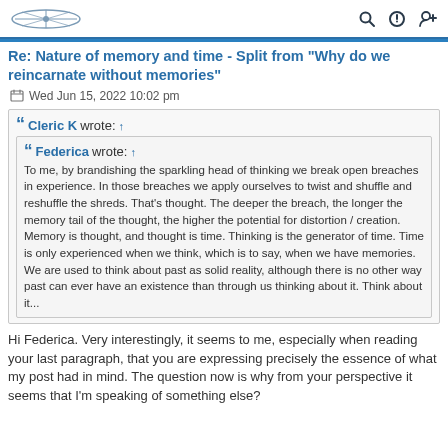Logo and navigation icons (search, power, user-add)
Re: Nature of memory and time - Split from "Why do we reincarnate without memories"
Wed Jun 15, 2022 10:02 pm
Cleric K wrote: ↑
Federica wrote: ↑
To me, by brandishing the sparkling head of thinking we break open breaches in experience. In those breaches we apply ourselves to twist and shuffle and reshuffle the shreds. That's thought. The deeper the breach, the longer the memory tail of the thought, the higher the potential for distortion / creation. Memory is thought, and thought is time. Thinking is the generator of time. Time is only experienced when we think, which is to say, when we have memories. We are used to think about past as solid reality, although there is no other way past can ever have an existence than through us thinking about it. Think about it...
Hi Federica. Very interestingly, it seems to me, especially when reading your last paragraph, that you are expressing precisely the essence of what my post had in mind. The question now is why from your perspective it seems that I'm speaking of something else?